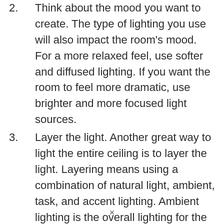2. Think about the mood you want to create. The type of lighting you use will also impact the room's mood. For a more relaxed feel, use softer and diffused lighting. If you want the room to feel more dramatic, use brighter and more focused light sources.
3. Layer the light. Another great way to light the entire ceiling is to layer the light. Layering means using a combination of natural light, ambient, task, and accent lighting. Ambient lighting is the overall lighting for the room. We
×